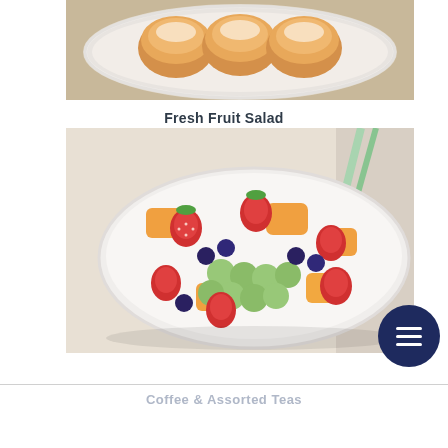[Figure (photo): Photo of baked buns/rolls dusted with powdered sugar in a white baking dish on a woven mat background]
Fresh Fruit Salad
[Figure (photo): Photo of a large white bowl filled with fresh fruit salad including strawberries, green grapes, cantaloupe chunks, and blueberries]
Coffee & Assorted Teas